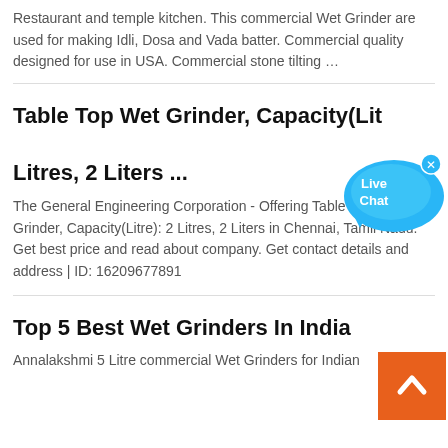Restaurant and temple kitchen. This commercial Wet Grinder are used for making Idli, Dosa and Vada batter. Commercial quality designed for use in USA. Commercial stone tilting …
Table Top Wet Grinder, Capacity(Litre): 2 Litres, 2 Liters ...
[Figure (illustration): Live Chat bubble/widget in blue speech-bubble shape with 'Live Chat' text and a close X button]
The General Engineering Corporation - Offering Table Top Wet Grinder, Capacity(Litre): 2 Litres, 2 Liters in Chennai, Tamil Nadu. Get best price and read about company. Get contact details and address | ID: 16209677891
[Figure (illustration): Orange back-to-top button with white upward chevron arrow]
Top 5 Best Wet Grinders In India
Annalakshmi 5 Litre commercial Wet Grinders for Indian